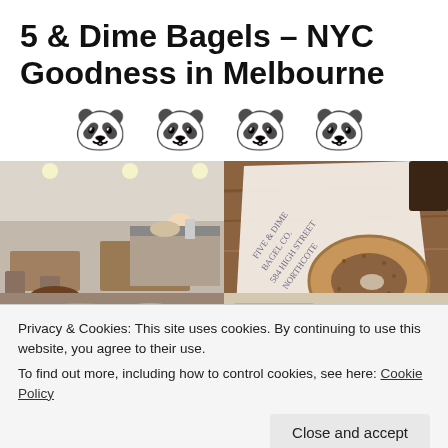5 & Dime Bagels – NYC Goodness in Melbourne
[Figure (other): Four panda bear emoji serving as a star/rating indicator]
[Figure (photo): Two food/restaurant photos side by side: left shows interior of cafe with people seated at tables, right shows a Five & Dime Bagel Co. branded paper bag with a bagel on a wooden table]
Privacy & Cookies: This site uses cookies. By continuing to use this website, you agree to their use.
To find out more, including how to control cookies, see here: Cookie Policy
[Figure (photo): Two more food photos partially visible at bottom of page]